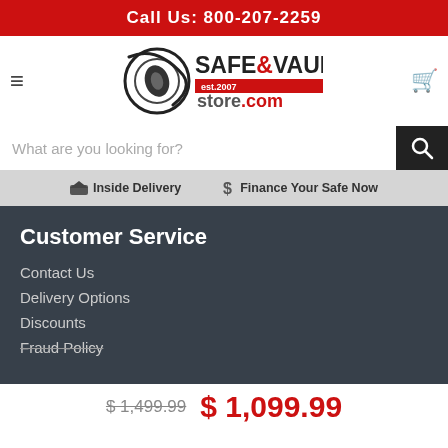Call Us: 800-207-2259
[Figure (logo): Safe & Vault Store.com logo with circular eye/safe graphic, est. 2007]
What are you looking for?
Inside Delivery   Finance Your Safe Now
Customer Service
Contact Us
Delivery Options
Discounts
Fraud Policy
$ 1,499.99  $ 1,099.99
Hello! Let us know if you have any questions!
Your b... accept... on this... now AdRoll to use cross-site tracking to tailor ads to you. Learn more or opt out of this AdRoll tracking by clicking here. This message only appears once.